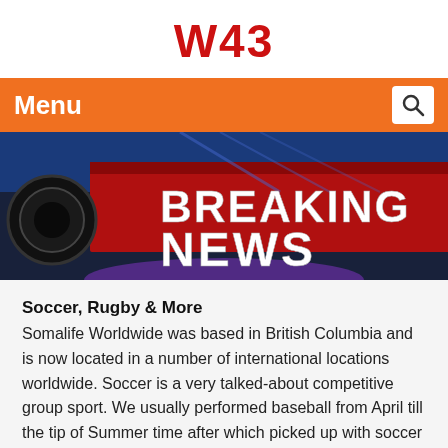W43
Menu
[Figure (photo): Breaking News broadcast graphic with bold white text 'BREAKING NEWS' on a red and dark background with studio lighting elements]
Soccer, Rugby & More
Somalife Worldwide was based in British Columbia and is now located in a number of international locations worldwide. Soccer is a very talked-about competitive group sport. We usually performed baseball from April till the tip of Summer time after which picked up with soccer within the